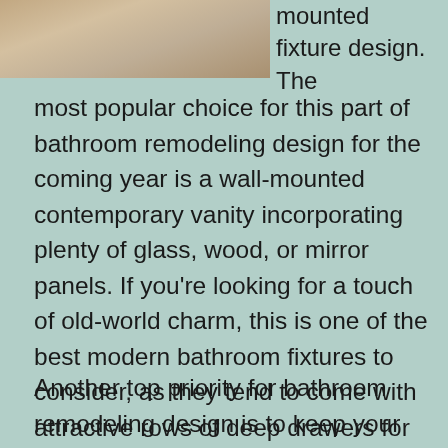[Figure (photo): Partial photo of a bathroom fixture, cropped at top-left of page]
mounted fixture design. The most popular choice for this part of bathroom remodeling design for the coming year is a wall-mounted contemporary vanity incorporating plenty of glass, wood, or mirror panels. If you're looking for a touch of old-world charm, this is one of the best modern bathroom fixtures to consider, as they tend to come with attractive rows of deep drawers for extra storage space.
Another top priority for bathroom remodeling design is to keep your fixtures minimal. While